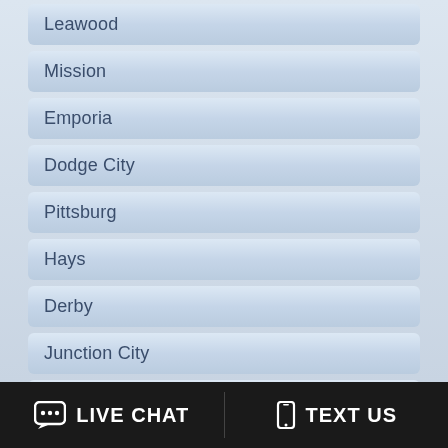Leawood
Mission
Emporia
Dodge City
Pittsburg
Hays
Derby
Junction City
Prairie Village
Liberal
Newton
Merriam
LIVE CHAT   TEXT US